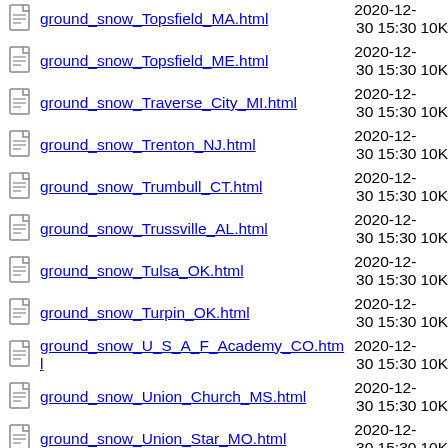ground_snow_Topsfield_MA.html  2020-12-30 15:30  10K
ground_snow_Topsfield_ME.html  2020-12-30 15:30  10K
ground_snow_Traverse_City_MI.html  2020-12-30 15:30  10K
ground_snow_Trenton_NJ.html  2020-12-30 15:30  10K
ground_snow_Trumbull_CT.html  2020-12-30 15:30  10K
ground_snow_Trussville_AL.html  2020-12-30 15:30  10K
ground_snow_Tulsa_OK.html  2020-12-30 15:30  10K
ground_snow_Turpin_OK.html  2020-12-30 15:30  10K
ground_snow_U_S_A_F_Academy_CO.html  2020-12-30 15:30  10K
ground_snow_Union_Church_MS.html  2020-12-30 15:30  10K
ground_snow_Union_Star_MO.html  2020-12-30 15:30  10K
ground_snow_Upper_Marlboro_MD.html  2020-12-  10K